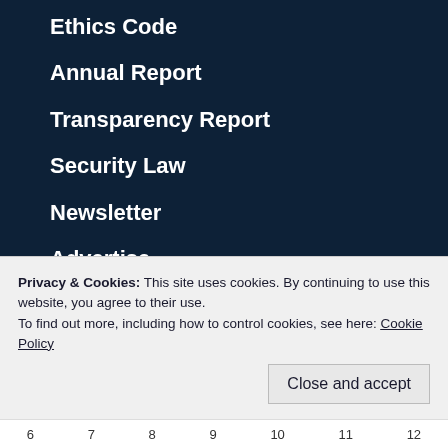Ethics Code
Annual Report
Transparency Report
Security Law
Newsletter
Advertise
Freelancers
Support
Privacy & Cookies: This site uses cookies. By continuing to use this website, you agree to their use.
To find out more, including how to control cookies, see here: Cookie Policy
Close and accept
6  7  8  9  10  11  12